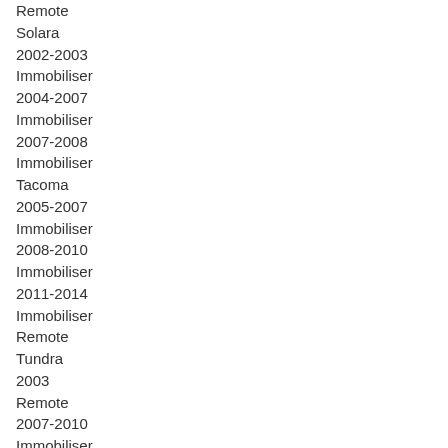Remote
Solara
2002-2003
Immobiliser
2004-2007
Immobiliser
2007-2008
Immobiliser
Tacoma
2005-2007
Immobiliser
2008-2010
Immobiliser
2011-2014
Immobiliser
Remote
Tundra
2003
Remote
2007-2010
Immobiliser
Remote
2010-2014